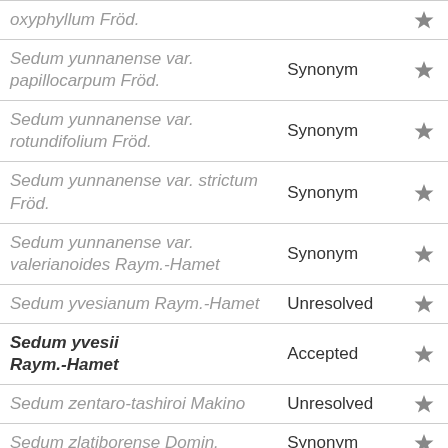| Name | Status |  |
| --- | --- | --- |
| oxyphyllum Fröd. |  | ★ |
| Sedum yunnanense var. papillocarpum Fröd. | Synonym | ★ |
| Sedum yunnanense var. rotundifolium Fröd. | Synonym | ★ |
| Sedum yunnanense var. strictum Fröd. | Synonym | ★ |
| Sedum yunnanense var. valerianoides Raym.-Hamet | Synonym | ★ |
| Sedum yvesianum Raym.-Hamet | Unresolved | ★ |
| Sedum yvesii Raym.-Hamet | Accepted | ★ |
| Sedum zentaro-tashiroi Makino | Unresolved | ★ |
| Sedum zlatiborense Domin. | Synonym | ★ |